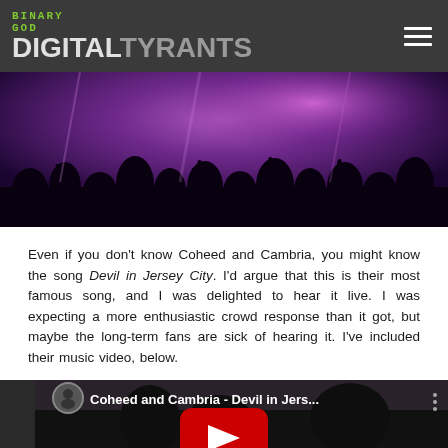Binary God Digital Tyrants
[Figure (photo): Concert crowd photo with purple/pink stage lighting and silhouettes of audience members with arms raised]
Even if you don't know Coheed and Cambria, you might know the song Devil in Jersey City. I'd argue that this is their most famous song, and I was delighted to hear it live. I was expecting a more enthusiastic crowd response than it got, but maybe the long-term fans are sick of hearing it. I've included their music video, below.
[Figure (screenshot): YouTube video embed thumbnail showing Coheed and Cambria - Devil in Jers... with a red YouTube play button over a dark concert image]